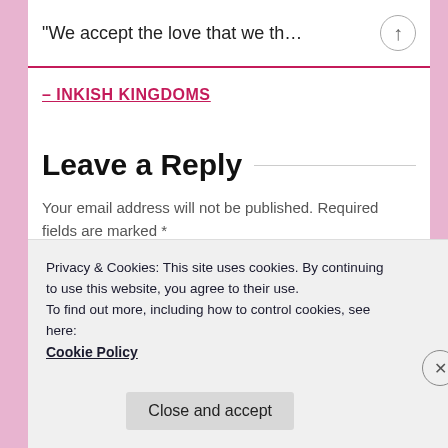“We accept the love that we th…
– INKISH KINGDOMS
Leave a Reply
Your email address will not be published. Required fields are marked *
Comment *
Privacy & Cookies: This site uses cookies. By continuing to use this website, you agree to their use.
To find out more, including how to control cookies, see here:
Cookie Policy
Close and accept